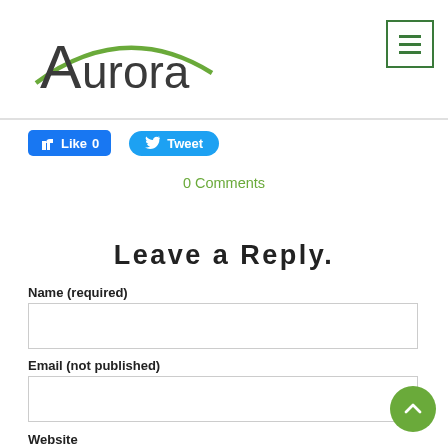Aurora — website header with logo and hamburger menu
[Figure (logo): Aurora logo with green arc over stylized text 'Aurora']
[Figure (other): Hamburger menu button (three green horizontal lines) with green border]
Like 0   Tweet
0 Comments
Leave a Reply.
Name (required)
Email (not published)
Website